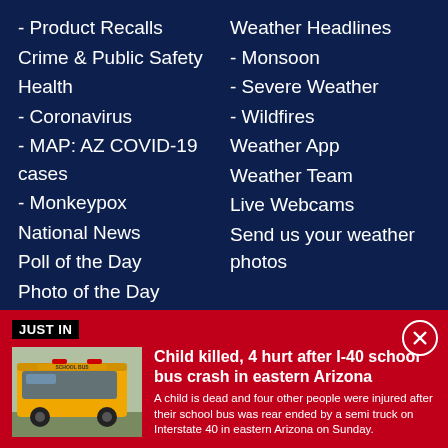- Product Recalls
Crime & Public Safety
Health
- Coronavirus
- MAP: AZ COVID-19 cases
- Monkeypox
National News
Poll of the Day
Photo of the Day
Seen on TV Links
Weather Headlines
- Monsoon
- Severe Weather
- Wildfires
Weather App
Weather Team
Live Webcams
Send us your weather photos
JUST IN
[Figure (photo): Yellow school bus, front view]
Child killed, 4 hurt after I-40 school bus crash in eastern Arizona
A child is dead and four other people were injured after their school bus was rear ended by a semi truck on Interstate 40 in eastern Arizona on Sunday.